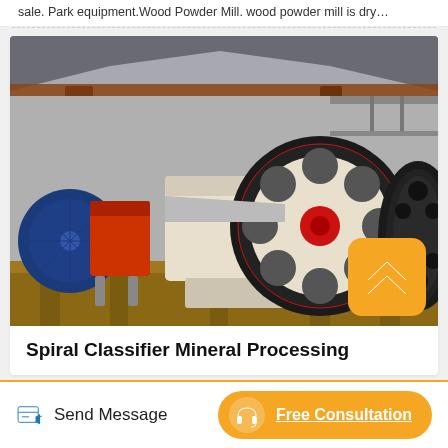sale. Park equipment.Wood Powder Mill. wood powder mill is dry…
[Figure (photo): Industrial jaw crusher / mineral processing machine with large black and red flywheel, white body, orange/red components, sitting on a rusty steel platform inside a warehouse building.]
Spiral Classifier Mineral Processing
Send Message
Free Consultation